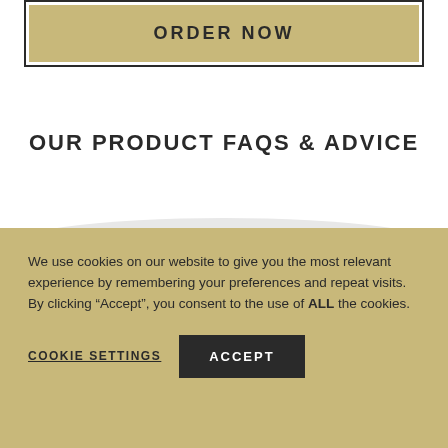[Figure (other): ORDER NOW button with tan/gold background inside a double-border box]
OUR PRODUCT FAQS & ADVICE
We use cookies on our website to give you the most relevant experience by remembering your preferences and repeat visits. By clicking “Accept”, you consent to the use of ALL the cookies.
COOKIE SETTINGS   ACCEPT